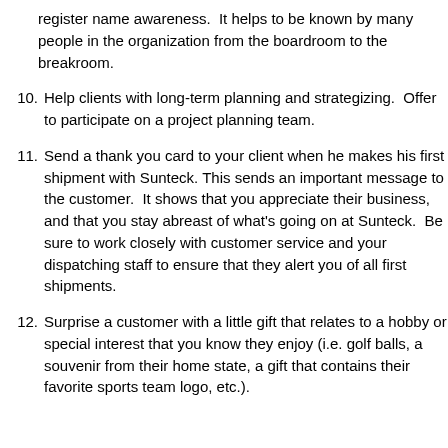register name awareness.  It helps to be known by many people in the organization from the boardroom to the breakroom.
10. Help clients with long-term planning and strategizing.  Offer to participate on a project planning team.
11. Send a thank you card to your client when he makes his first shipment with Sunteck. This sends an important message to the customer.  It shows that you appreciate their business, and that you stay abreast of what's going on at Sunteck.  Be sure to work closely with customer service and your dispatching staff to ensure that they alert you of all first shipments.
12. Surprise a customer with a little gift that relates to a hobby or special interest that you know they enjoy (i.e. golf balls, a souvenir from their home state, a gift that contains their favorite sports team logo, etc.).